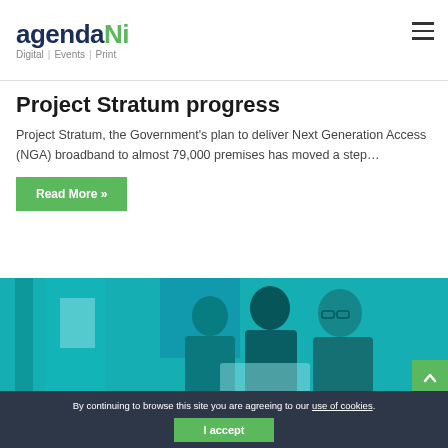agendaNi — Digital | Events | Print
Project Stratum progress
Project Stratum, the Government's plan to deliver Next Generation Access (NGA) broadband to almost 79,000 premises has moved a step…
Read More »
[Figure (photo): Three people looking at a tablet device, photo treated with teal/cyan color overlay]
By continuing to browse this site you are agreeing to our use of cookies.
I accept